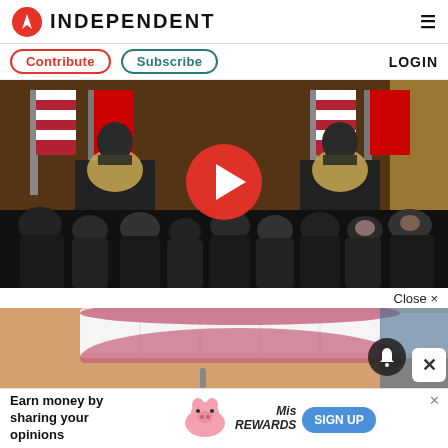INDEPENDENT
Contribute   Subscribe   LOGIN
[Figure (photo): Press conference scene with two podiums bearing the presidential seal, US flags and other flags in background, audience in foreground, large red play button overlay in center]
Close ×
[Figure (photo): Close-up of a smiling woman showing white teeth, partial face visible, notification bell icon and close X button overlaid]
Earn money by sharing your opinions   SIGN UP   Mis REWARDS